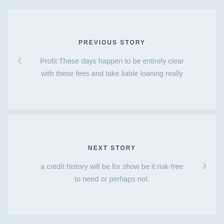PREVIOUS STORY
Profit These days happen to be entirely clear with these fees and take liable loaning really
NEXT STORY
a credit history will be for show be it risk-free to need or perhaps not.